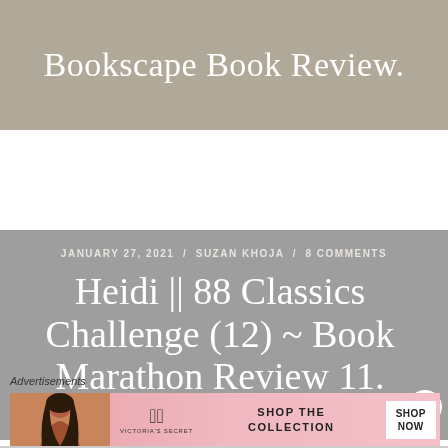Bookscape Book Review.
Heidi || 88 Classics Challenge (12) ~ Book Marathon Review 11.
JANUARY 27, 2021 / SUZAN KHOJA / 8 COMMENTS
Advertisements
[Figure (photo): Victoria's Secret advertisement banner with a model and text 'SHOP THE COLLECTION SHOP NOW']